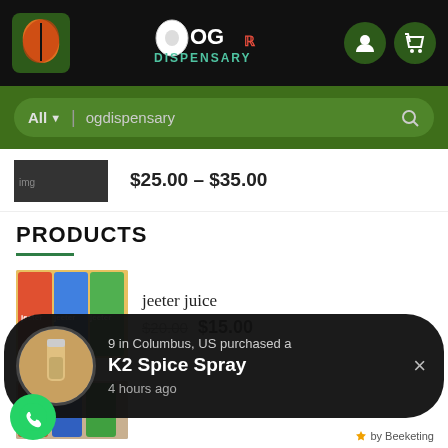[Figure (screenshot): OG Dispensary website screenshot showing mobile view with navigation bar, search bar, products section listing jeeter juice at $15.00 (was $20.00), and a notification popup about K2 Spice Spray purchased in Columbus, US]
OG DISPENSARY
ogdispensary
$25.00 – $35.00
PRODUCTS
jeeter juice
$20.00  $15.00
9 in Columbus, US purchased a
K2 Spice Spray
4 hours ago